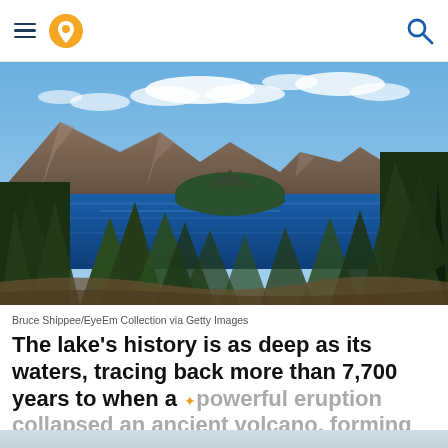Navigation header with hamburger menu, location pin icon, and search icon
[Figure (photo): Scenic view of Crater Lake with deep blue water, Wizard Island in the center, rocky caldera walls in the background, and tall evergreen pine trees in the foreground. Blue sky with scattered white clouds.]
Bruce Shippee/EyeEm Collection via Getty Images
The lake's history is as deep as its waters, tracing back more than 7,700 years to when a powerful eruption collapsed an ancient volcano, forming what we know today as Crater Lake.